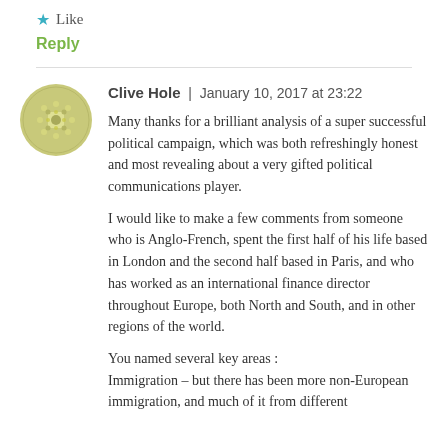★ Like
Reply
Clive Hole | January 10, 2017 at 23:22
Many thanks for a brilliant analysis of a super successful political campaign, which was both refreshingly honest and most revealing about a very gifted political communications player.
I would like to make a few comments from someone who is Anglo-French, spent the first half of his life based in London and the second half based in Paris, and who has worked as an international finance director throughout Europe, both North and South, and in other regions of the world.
You named several key areas :
Immigration – but there has been more non-European immigration, and much of it from different